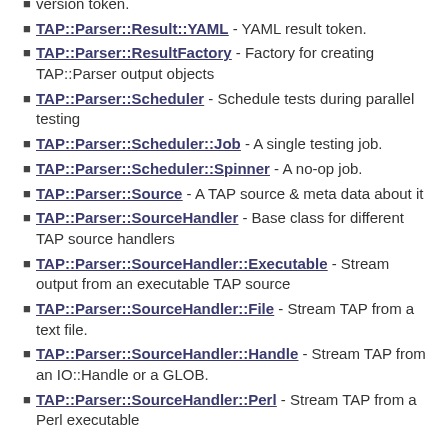TAP::Parser::Result::YAML - YAML result token.
TAP::Parser::ResultFactory - Factory for creating TAP::Parser output objects
TAP::Parser::Scheduler - Schedule tests during parallel testing
TAP::Parser::Scheduler::Job - A single testing job.
TAP::Parser::Scheduler::Spinner - A no-op job.
TAP::Parser::Source - A TAP source & meta data about it
TAP::Parser::SourceHandler - Base class for different TAP source handlers
TAP::Parser::SourceHandler::Executable - Stream output from an executable TAP source
TAP::Parser::SourceHandler::File - Stream TAP from a text file.
TAP::Parser::SourceHandler::Handle - Stream TAP from an IO::Handle or a GLOB.
TAP::Parser::SourceHandler::Perl - Stream TAP from a Perl executable